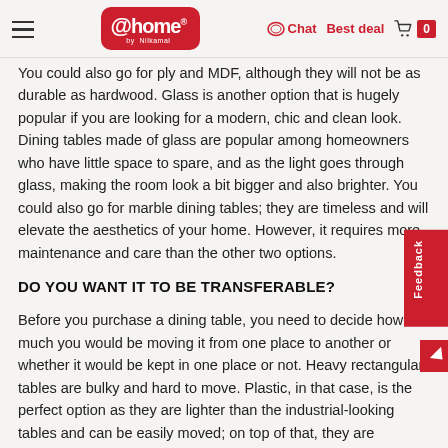@home by Nilkamal | Chat | Best deal | 0
You could also go for ply and MDF, although they will not be as durable as hardwood. Glass is another option that is hugely popular if you are looking for a modern, chic and clean look. Dining tables made of glass are popular among homeowners who have little space to spare, and as the light goes through glass, making the room look a bit bigger and also brighter. You could also go for marble dining tables; they are timeless and will elevate the aesthetics of your home. However, it requires more maintenance and care than the other two options.
DO YOU WANT IT TO BE TRANSFERABLE?
Before you purchase a dining table, you need to decide how much you would be moving it from one place to another or whether it would be kept in one place or not. Heavy rectangular tables are bulky and hard to move. Plastic, in that case, is the perfect option as they are lighter than the industrial-looking tables and can be easily moved; on top of that, they are